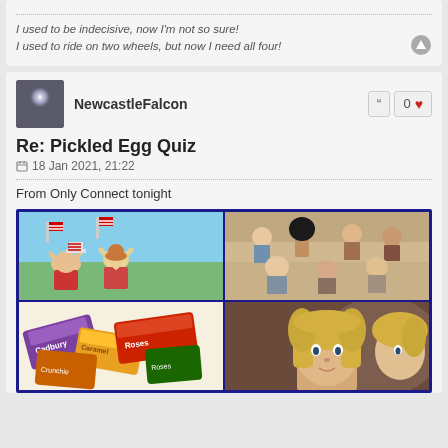I used to be indecisive, now I'm not so sure!
I used to ride on two wheels, but now I need all four!
NewcastleFalcon
0
Re: Pickled Egg Quiz
18 Jan 2021, 21:22
From Only Connect tonight
[Figure (photo): A 2x2 grid of four photos framed with a dark blue border: top-left shows children waving American flags, top-right shows a group of girls/women posing together, bottom-left shows colorful candy/chocolate bars, bottom-right shows a blonde woman.]